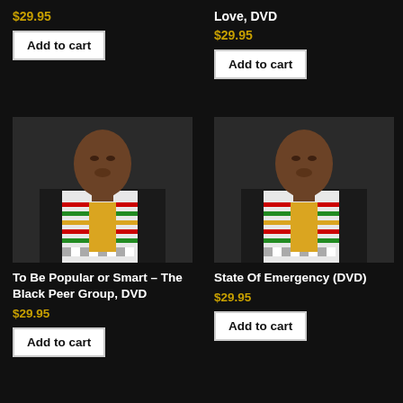$29.95
Add to cart
Love, DVD
$29.95
Add to cart
[Figure (photo): Man wearing kente cloth stole speaking at a podium, dark background]
To Be Popular or Smart – The Black Peer Group, DVD
$29.95
Add to cart
[Figure (photo): Man wearing kente cloth stole speaking at a podium, dark background]
State Of Emergency (DVD)
$29.95
Add to cart